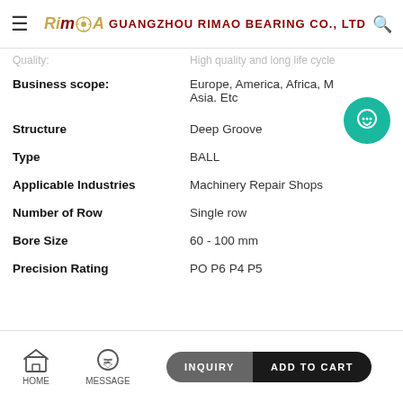GUANGZHOU RIMAO BEARING CO., LTD
| Property | Value |
| --- | --- |
| Quality: | High quality and long life cycle |
| Business scope: | Europe, America, Africa, Middle East, Asia. Etc |
| Structure | Deep Groove |
| Type | BALL |
| Applicable Industries | Machinery Repair Shops |
| Number of Row | Single row |
| Bore Size | 60 - 100 mm |
| Precision Rating | PO P6 P4 P5 |
HOME  MESSAGE  INQUIRY  ADD TO CART